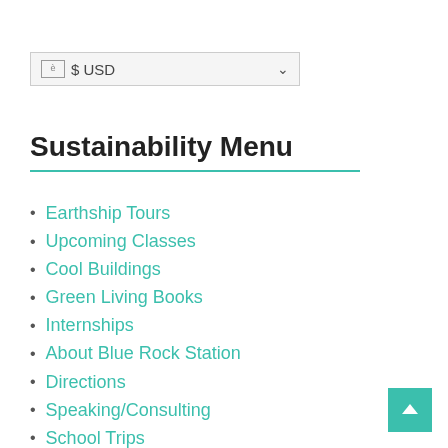🏳️ $ USD
Sustainability Menu
Earthship Tours
Upcoming Classes
Cool Buildings
Green Living Books
Internships
About Blue Rock Station
Directions
Speaking/Consulting
School Trips
Workshop FAQs
Our Solar Array
Our Podcasts